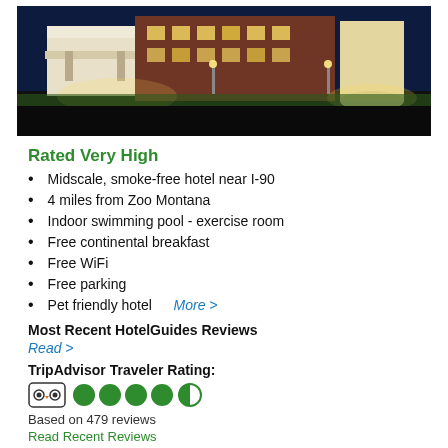[Figure (photo): Night exterior photo of a midscale hotel building with lighting, green lawn, and parking area]
Rated Very High
Midscale, smoke-free hotel near I-90
4 miles from Zoo Montana
Indoor swimming pool - exercise room
Free continental breakfast
Free WiFi
Free parking
Pet friendly hotel   More >
Most Recent HotelGuides Reviews
Read >
TripAdvisor Traveler Rating:
[Figure (other): TripAdvisor owl logo and 4.5 circle rating bubbles (4 filled green, 1 half green)]
Based on 479 reviews
Read Recent Reviews